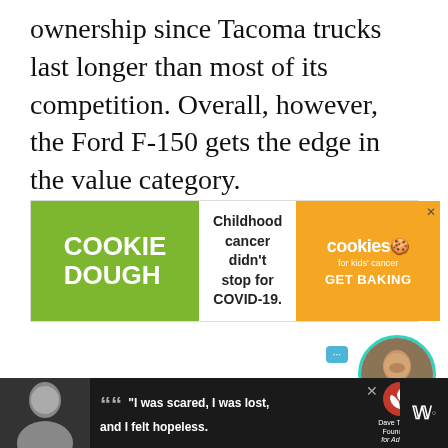ownership since Tacoma trucks last longer than most of its competition. Overall, however, the Ford F-150 gets the edge in the value category.
[Figure (infographic): Advertisement banner for 'Cookie Dough for Kids Cancer' with green left panel showing 'COOKIE DOUGH' text, white middle panel with text 'Childhood cancer didn't stop for COVID-19.', and orange right panel with cookies logo and 'GET BAKING' call to action.]
[Figure (photo): Circular avatar photo of a smiling woman with teal/turquoise border, positioned in lower right of page.]
[Figure (infographic): Bottom advertisement banner with dark background showing a woman photo on left, quote text 'I was scared, I was lost, and I felt hopeless.' in white, Dave Thomas Foundation for Adoption logo, and a brand watermark on the right.]